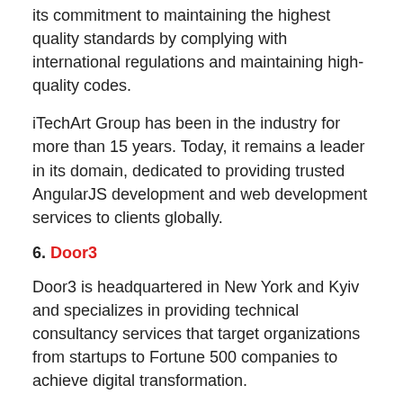its commitment to maintaining the highest quality standards by complying with international regulations and maintaining high-quality codes.
iTechArt Group has been in the industry for more than 15 years. Today, it remains a leader in its domain, dedicated to providing trusted AngularJS development and web development services to clients globally.
6. Door3
Door3 is headquartered in New York and Kyiv and specializes in providing technical consultancy services that target organizations from startups to Fortune 500 companies to achieve digital transformation.
For over 18 years, the company has delivered more than 500 projects for hundreds of clients worldwide. This success has been driven by the firm's pool of over 80 highly skilled and talented professionals. Their stellar work